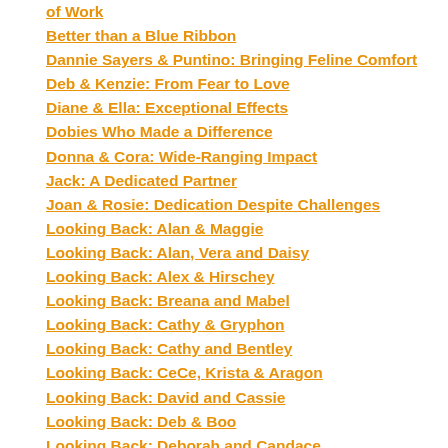of Work
Better than a Blue Ribbon
Dannie Sayers & Puntino: Bringing Feline Comfort
Deb & Kenzie: From Fear to Love
Diane & Ella: Exceptional Effects
Dobies Who Made a Difference
Donna & Cora: Wide-Ranging Impact
Jack: A Dedicated Partner
Joan & Rosie: Dedication Despite Challenges
Looking Back: Alan & Maggie
Looking Back: Alan, Vera and Daisy
Looking Back: Alex & Hirschey
Looking Back: Breana and Mabel
Looking Back: Cathy & Gryphon
Looking Back: Cathy and Bentley
Looking Back: CeCe, Krista & Aragon
Looking Back: David and Cassie
Looking Back: Deb & Boo
Looking Back: Deborah and Candace
Looking Back: Diana and Murungu
Looking Back: Eddye & Jessie
Looking Back: Jamie and Maggie
Looking Back: Jan & Ariel
Looking Back: Janice and Halle Berry
Looking Back: Jean & Fiona
Looking Back: Laura & Lego
Looking Back: Lauren & Indie
Looking Back: Liz and Buddy